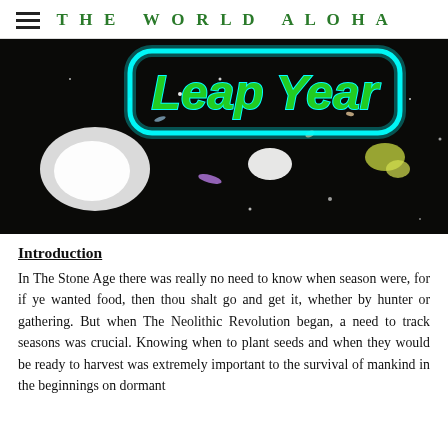THE WORLD ALOHA
[Figure (photo): Space/galaxy background image with neon cyan text reading 'Leap Year' in a rounded rectangle bubble style]
Introduction
In The Stone Age there was really no need to know when season were, for if ye wanted food, then thou shalt go and get it, whether by hunter or gathering. But when The Neolithic Revolution began, a need to track seasons was crucial. Knowing when to plant seeds and when they would be ready to harvest was extremely important to the survival of mankind in the beginnings on dormant